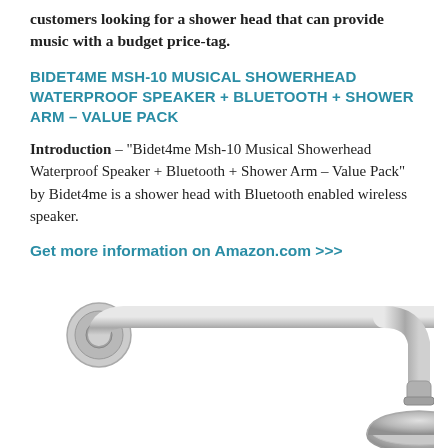customers looking for a shower head that can provide music with a budget price-tag.
BIDET4ME MSH-10 MUSICAL SHOWERHEAD WATERPROOF SPEAKER + BLUETOOTH + SHOWER ARM – VALUE PACK
Introduction – “Bidet4me Msh-10 Musical Showerhead Waterproof Speaker + Bluetooth + Shower Arm – Value Pack” by Bidet4me is a shower head with Bluetooth enabled wireless speaker.
Get more information on Amazon.com >>>
[Figure (photo): Photograph of a chrome shower head with a curved shower arm, showing the arm mount and shower head fitting from below.]